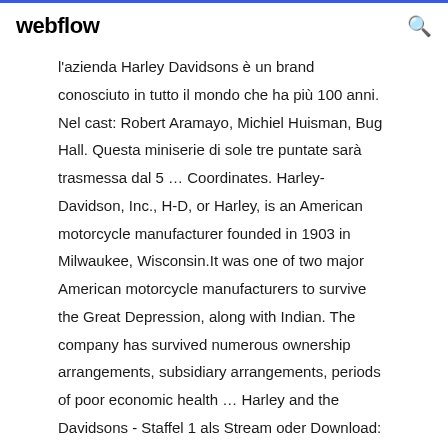webflow
l'azienda Harley Davidsons è un brand conosciuto in tutto il mondo che ha più 100 anni. Nel cast: Robert Aramayo, Michiel Huisman, Bug Hall. Questa miniserie di sole tre puntate sarà trasmessa dal 5 … Coordinates. Harley-Davidson, Inc., H-D, or Harley, is an American motorcycle manufacturer founded in 1903 in Milwaukee, Wisconsin.It was one of two major American motorcycle manufacturers to survive the Great Depression, along with Indian. The company has survived numerous ownership arrangements, subsidiary arrangements, periods of poor economic health … Harley and the Davidsons - Staffel 1 als Stream oder Download: Wir versuchen